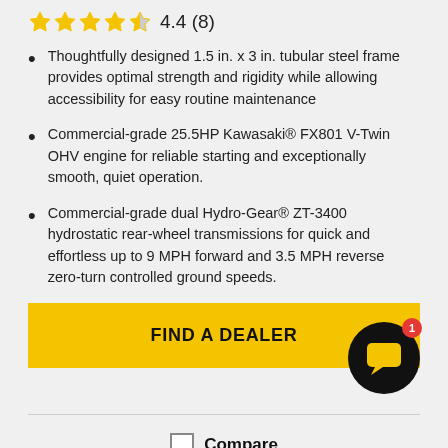4.4 (8)
Thoughtfully designed 1.5 in. x 3 in. tubular steel frame provides optimal strength and rigidity while allowing accessibility for easy routine maintenance
Commercial-grade 25.5HP Kawasaki® FX801 V-Twin OHV engine for reliable starting and exceptionally smooth, quiet operation.
Commercial-grade dual Hydro-Gear® ZT-3400 hydrostatic rear-wheel transmissions for quick and effortless up to 9 MPH forward and 3.5 MPH reverse zero-turn controlled ground speeds.
FIND A DEALER
Compare